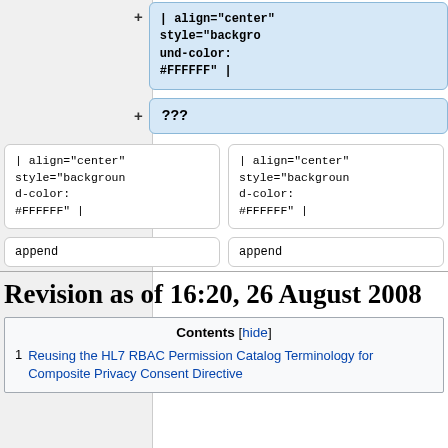[Figure (screenshot): Diff view showing wiki markup boxes. Top-right: blue highlighted box with code '| align="center" style="background-color: #FFFFFF" |'. Below it: blue ??? box. Then two white code boxes side by side with same markup. Two white append boxes below those.]
Revision as of 16:20, 26 August 2008
| Contents [hide] |
| --- |
| 1  Reusing the HL7 RBAC Permission Catalog Terminology for Composite Privacy Consent Directive |